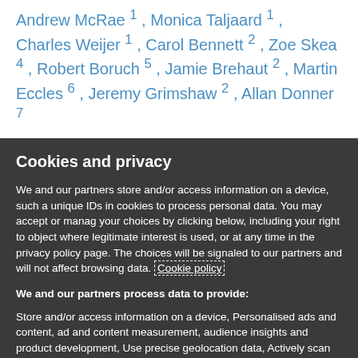Andrew McRae 1 , Monica Taljaard 1 , Charles Weijer 1 , Carol Bennett 2 , Zoe Skea 4 , Robert Boruch 5 , Jamie Brehaut 2 , Martin Eccles 6 , Jeremy Grimshaw 2 , Allan Donner 7
Cookies and privacy
We and our partners store and/or access information on a device, such as unique IDs in cookies to process personal data. You may accept or manage your choices by clicking below, including your right to object where legitimate interest is used, or at any time in the privacy policy page. These choices will be signaled to our partners and will not affect browsing data. Cookie policy
We and our partners process data to provide:
Store and/or access information on a device, Personalised ads and content, ad and content measurement, audience insights and product development, Use precise geolocation data, Actively scan device characteristics for identification
List of Partners (vendors)